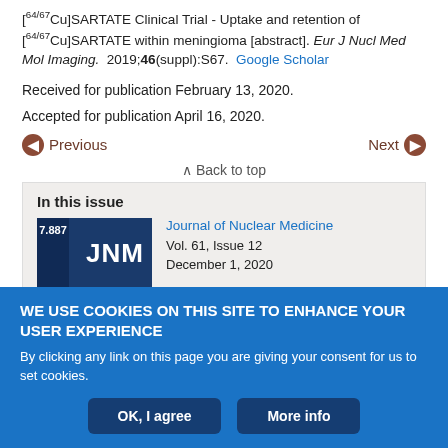[64/67Cu]SARTATE Clinical Trial - Uptake and retention of [64/67Cu]SARTATE within meningioma [abstract]. Eur J Nucl Med Mol Imaging. 2019;46(suppl):S67. Google Scholar
Received for publication February 13, 2020.
Accepted for publication April 16, 2020.
Previous   Next
Back to top
In this issue
[Figure (photo): Journal of Nuclear Medicine cover image showing JNM logo on blue background with impact factor 7.887]
Journal of Nuclear Medicine
Vol. 61, Issue 12
December 1, 2020
WE USE COOKIES ON THIS SITE TO ENHANCE YOUR USER EXPERIENCE
By clicking any link on this page you are giving your consent for us to set cookies.